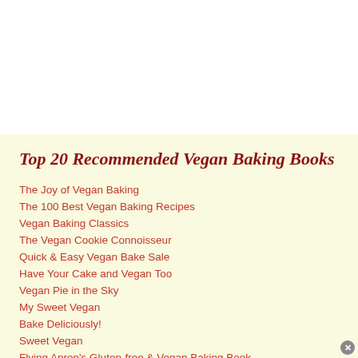Top 20 Recommended Vegan Baking Books
The Joy of Vegan Baking
The 100 Best Vegan Baking Recipes
Vegan Baking Classics
The Vegan Cookie Connoisseur
Quick & Easy Vegan Bake Sale
Have Your Cake and Vegan Too
Vegan Pie in the Sky
My Sweet Vegan
Bake Deliciously!
Sweet Vegan
Flying Apron's Gluten-free & Vegan Baking Book
Sinfully Vegan